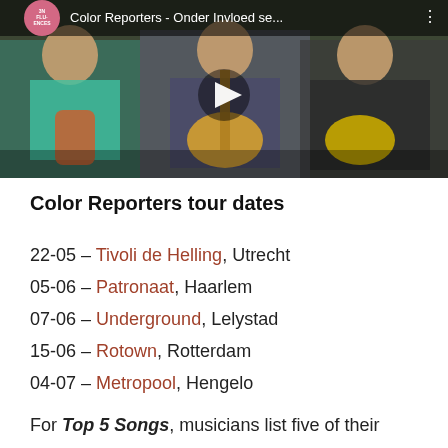[Figure (screenshot): YouTube video thumbnail showing three musicians sitting on a couch holding guitars. Video title reads 'Color Reporters - Onder Invloed se...' with a play button in the center. Top-left shows a circular logo with 'INFLUENCES'.]
Color Reporters tour dates
22-05 – Tivoli de Helling, Utrecht
05-06 – Patronaat, Haarlem
07-06 – Underground, Lelystad
15-06 – Rotown, Rotterdam
04-07 – Metropool, Hengelo
For Top 5 Songs, musicians list five of their